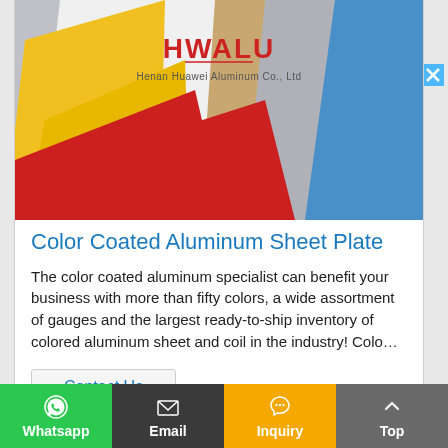[Figure (photo): Fanned-out color coated aluminum sheet plates showing blue, gray, tan/brown, white, yellow, and red colors, with HWALU / Henan Huawei Aluminum Co., Ltd logo overlay]
Color Coated Aluminum Sheet Plate
The color coated aluminum specialist can benefit your business with more than fifty colors, a wide assortment of gauges and the largest ready-to-ship inventory of colored aluminum sheet and coil in the industry! Colo…
Contact Us